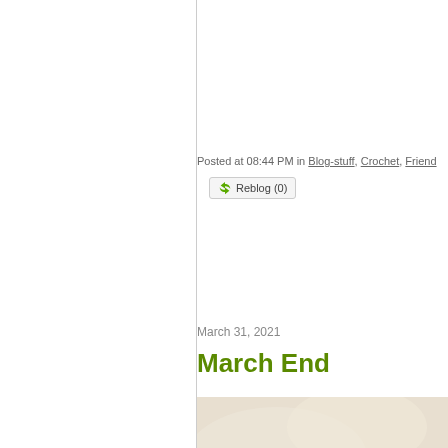Posted at 08:44 PM in Blog-stuff, Crochet, Friend...
Reblog (0)
March 31, 2021
March End
[Figure (photo): A floral fabric/blanket with pink and teal flowers on a cream background, with a blue polka-dot mug containing a hot drink in the lower right corner.]